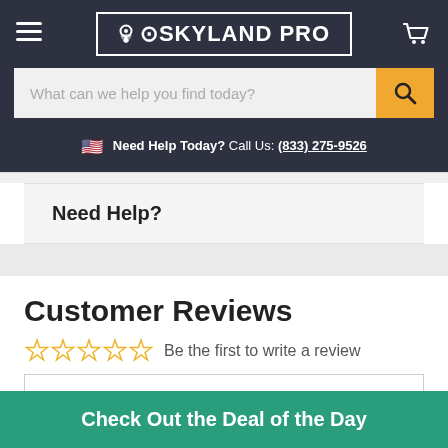SKYLAND PRO
What can we help you find today?
Need Help Today? Call Us: (833) 275-9526
Need Help?
Customer Reviews
Be the first to write a review
Check Out the Deal of the Day